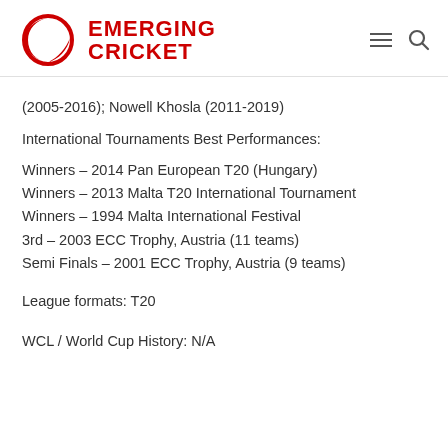EMERGING CRICKET
(2005-2016); Nowell Khosla (2011-2019)
International Tournaments Best Performances:
Winners – 2014 Pan European T20 (Hungary)
Winners – 2013 Malta T20 International Tournament
Winners – 1994 Malta International Festival
3rd – 2003 ECC Trophy, Austria (11 teams)
Semi Finals – 2001 ECC Trophy, Austria (9 teams)
League formats: T20
WCL / World Cup History: N/A